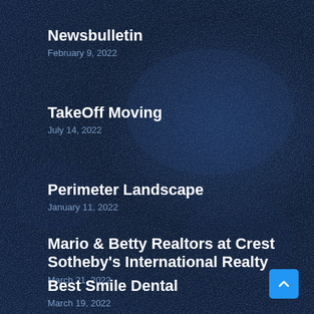Newsbulletin
February 9, 2022
TakeOff Moving
July 14, 2022
Perimeter Landscape
January 11, 2022
Mario & Betty Realtors at Crest Sotheby's International Realty
March 21, 2022
Best Smile Dental
March 19, 2022